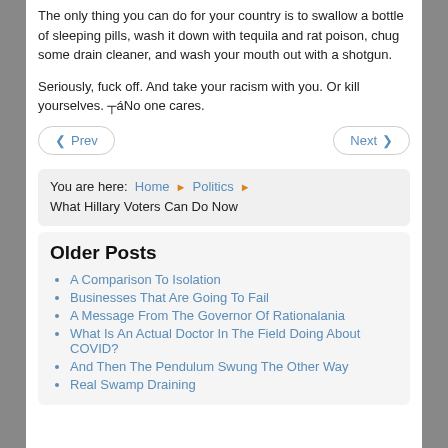The only thing you can do for your country is to swallow a bottle of sleeping pills, wash it down with tequila and rat poison, chug some drain cleaner, and wash your mouth out with a shotgun.
Seriously, fuck off. And take your racism with you. Or kill yourselves. ┬áNo one cares.
Prev | Next (navigation buttons)
You are here: Home ▶ Politics ▶ What Hillary Voters Can Do Now
Older Posts
A Comparison To Isolation
Businesses That Are Going To Fail
A Message From The Governor Of Rationalania
What Is An Actual Doctor In The Field Doing About COVID?
And Then The Pendulum Swung The Other Way
Real Swamp Draining